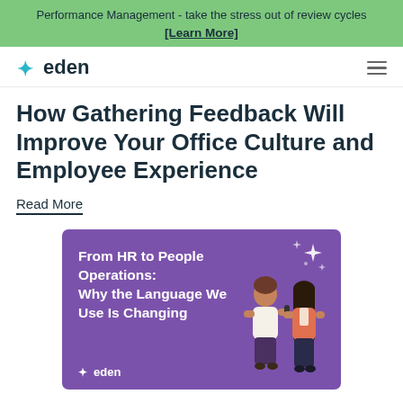Performance Management - take the stress out of review cycles [Learn More]
[Figure (logo): Eden logo with teal sparkle star and dark navy 'eden' text, plus hamburger menu icon]
How Gathering Feedback Will Improve Your Office Culture and Employee Experience
Read More
[Figure (illustration): Purple card with white bold text 'From HR to People Operations: Why the Language We Use Is Changing', Eden logo at bottom left, white sparkle decorations top right, and two illustrated figures (women) on the right side of the card]